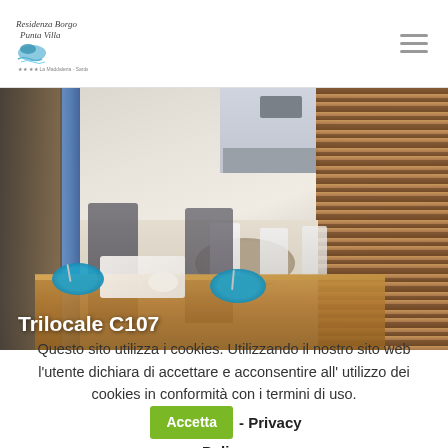Residenza Borgo Punta Villa
[Figure (photo): Interior photo of a vacation apartment (Trilocale C107) showing a dining area with blue plates on a wooden table in the foreground, gray and white modern chairs, a round dining table in the background, kitchen visible, and wooden louvered shutters on the right side.]
Trilocale C107
Questo sito utilizza i cookies. Utilizzando il nostro sito web l'utente dichiara di accettare e acconsentire all' utilizzo dei cookies in conformità con i termini di uso. Accetta - Privacy Policy